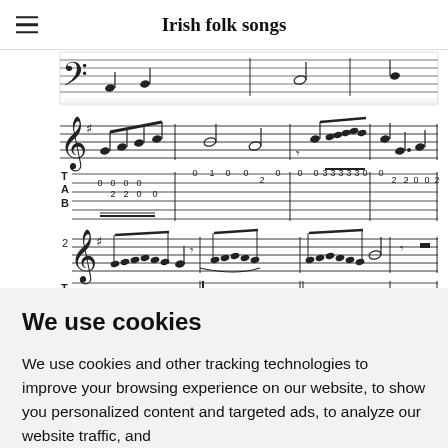Irish folk songs
[Figure (illustration): Sheet music with standard notation and guitar tablature for an Irish folk song, showing two rows of musical staff with notes and corresponding TAB notation below each staff. Numbers visible on TAB: 0,0,0,0,2,2,0,0, 0,1,0, 2, 0, 3-3-3-3-3-0, 0, 2,2*,0,0,2 (first row); 0,0,0,0,2,0, 0,0,0,0, 2,2,0, 0, (second row). Row number 2 marked on left.]
We use cookies
We use cookies and other tracking technologies to improve your browsing experience on our website, to show you personalized content and targeted ads, to analyze our website traffic, and